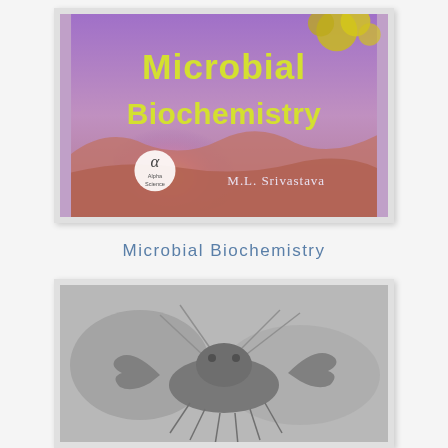[Figure (photo): Book cover of 'Microbial Biochemistry' by M.L. Srivastava, published by Alpha Science. The cover shows a colorful desert landscape background with purple and pink hues, a setting sun, and yellow-green flowering plants at the top right. The title 'Microbial Biochemistry' is written in large yellow-green letters. The Alpha Science logo (alpha symbol in a circle) and 'M.L. Srivastava' author name appear at the bottom.]
Microbial Biochemistry
[Figure (photo): A black and white photograph showing what appears to be a crustacean or lobster-like creature, partially visible, with legs and claws visible against a dark background.]